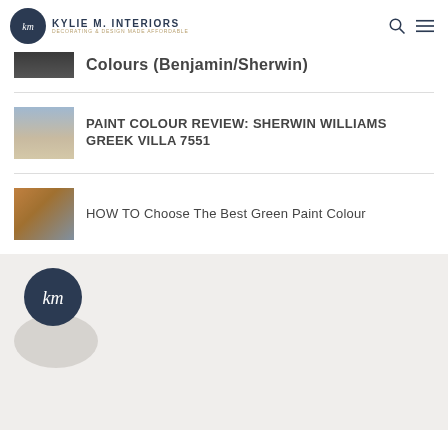Kylie M. Interiors — Decorating & Design Made Affordable
Colours (Benjamin/Sherwin)
PAINT COLOUR REVIEW: SHERWIN WILLIAMS GREEK VILLA 7551
HOW TO Choose The Best Green Paint Colour
[Figure (logo): Kylie M Interiors circular logo at bottom of page]